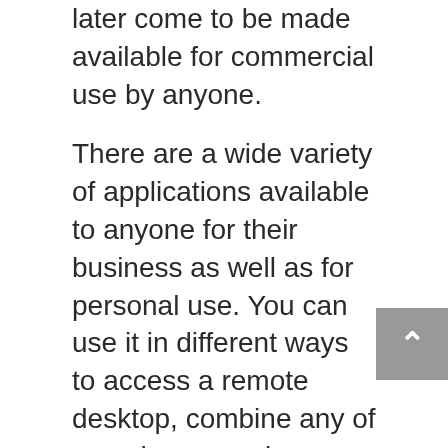later come to be made available for commercial use by anyone.
There are a wide variety of applications available to anyone for their business as well as for personal use. You can use it in different ways to access a remote desktop, combine any of you phone number, access any type of software and connect with your friends and family.
You can access them at any time from your mobile phones as well as computers. In the following sections, we are going to see some of the top rated small business VOIP apps available today. We also looked at the pros and cons that help the consumer to find the best solution for them.